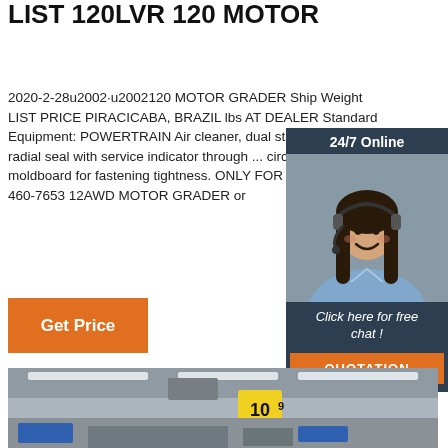CATERPILLAR MACHINE PRICE LIST 120LVR 120 MOTOR
2020-2-28u2002·u2002120 MOTOR GRADER Ship Weight LIST PRICE PIRACICABA, BRAZIL lbs AT DEALER Standard Equipment: POWERTRAIN Air cleaner, dual stage dry type radial seal with service indicator through ... circle and moldboard for fastening tightness. ONLY FOR USE WITH: 460-7653 12AWD MOTOR GRADER or
[Figure (infographic): Chat widget overlay: dark navy background with '24/7 Online' header text, photo of smiling woman with headset, italic text 'Click here for free chat!', and orange QUOTATION button]
Get Price
[Figure (photo): Interior of a supermarket aisle showing ceiling lights, yellow price tags with numbers 10.9 and 12, store signage in Japanese/Chinese characters, merchandise on shelves]